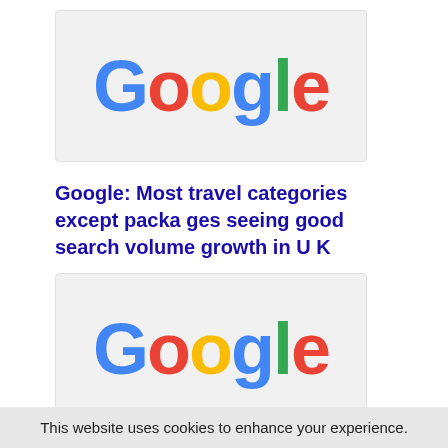[Figure (logo): Google logo on light grey background, first logo image]
Google: Most travel categories except packages seeing good search volume growth in UK
[Figure (logo): Google logo on light grey background, second logo image]
Facebook poses little threat to Google in tra
This website uses cookies to enhance your experience.